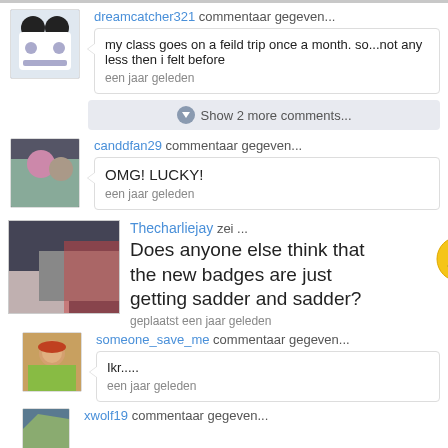dreamcatcher321 commentaar gegeven...
my class goes on a feild trip once a month. so...not any less then i felt before
een jaar geleden
Show 2 more comments...
canddfan29 commentaar gegeven...
OMG! LUCKY!
een jaar geleden
Thecharliejay zei ...
Does anyone else think that the new badges are just getting sadder and sadder?
geplaatst een jaar geleden
someone_save_me commentaar gegeven...
Ikr.....
een jaar geleden
xwolf19 commentaar gegeven...